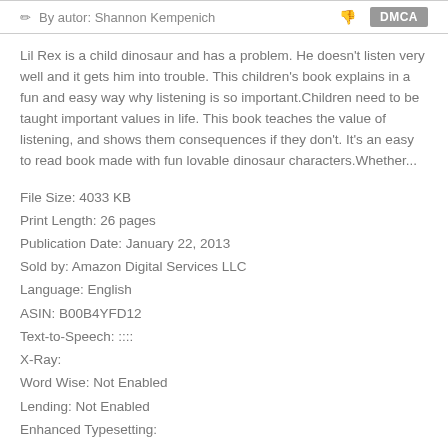By autor: Shannon Kempenich   DMCA
Lil Rex is a child dinosaur and has a problem. He doesn't listen very well and it gets him into trouble. This children's book explains in a fun and easy way why listening is so important.Children need to be taught important values in life. This book teaches the value of listening, and shows them consequences if they don't. It's an easy to read book made with fun lovable dinosaur characters.Whether...
File Size: 4033 KB
Print Length: 26 pages
Publication Date: January 22, 2013
Sold by: Amazon Digital Services LLC
Language: English
ASIN: B00B4YFD12
Text-to-Speech: ::::
X-Ray:
Word Wise: Not Enabled
Lending: Not Enabled
Enhanced Typesetting:
Format: PDF ePub Text divu book